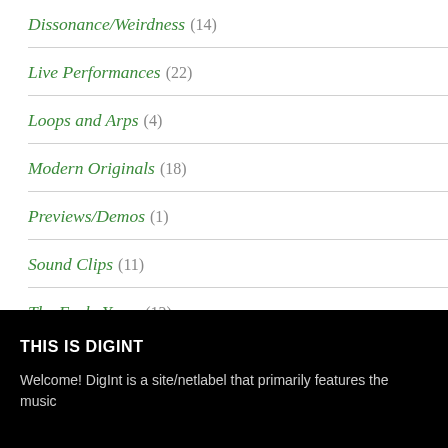Dissonance/Weirdness (14)
Live Performances (22)
Loops and Arps (4)
Modern Originals (18)
Previews/Demos (1)
Sound Clips (11)
The Early Years (12)
Uncategorized (2)
THIS IS DIGINT
Welcome! DigInt is a site/netlabel that primarily features the music